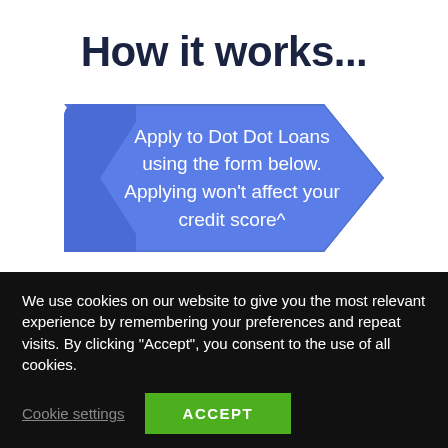How it works...
[Figure (infographic): Blue chevron/arrow shape with white text: 'Apply to Dot Dot Loans using the form below. Applying won't affect your credit score^']
We use cookies on our website to give you the most relevant experience by remembering your preferences and repeat visits. By clicking "Accept", you consent to the use of all cookies.
Cookie settings
ACCEPT